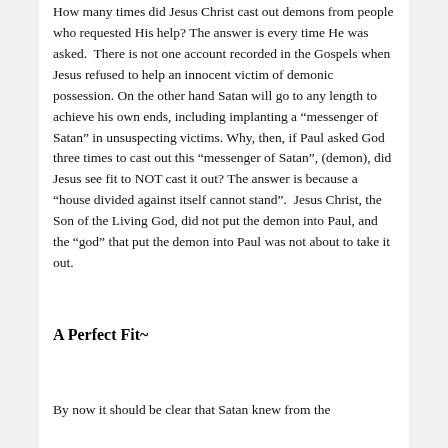How many times did Jesus Christ cast out demons from people who requested His help? The answer is every time He was asked.  There is not one account recorded in the Gospels when Jesus refused to help an innocent victim of demonic possession. On the other hand Satan will go to any length to achieve his own ends, including implanting a “messenger of Satan” in unsuspecting victims. Why, then, if Paul asked God three times to cast out this “messenger of Satan”, (demon), did Jesus see fit to NOT cast it out? The answer is because a “house divided against itself cannot stand”.  Jesus Christ, the Son of the Living God, did not put the demon into Paul, and the “god” that put the demon into Paul was not about to take it out.
A Perfect Fit~
By now it should be clear that Satan knew from the